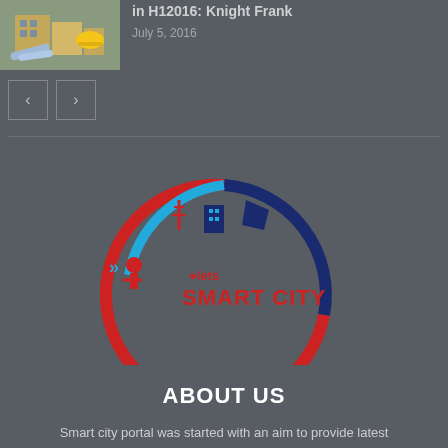[Figure (photo): Thumbnail image of construction/architecture items including blueprints and hard hat]
in H12016: Knight Frank
July 5, 2016
[Figure (other): Navigation previous and next arrow buttons]
[Figure (logo): Lets Smart City circular logo with red and blue elements and city icons]
ABOUT US
Smart city portal was started with an aim to provide latest